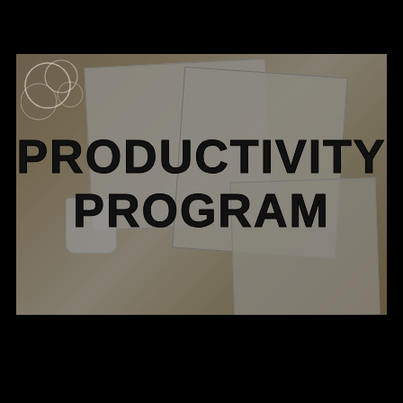[Figure (photo): A banner photo showing a desk with notebooks, papers, and a coffee cup, overlaid with a dark tint. Bold rounded text reads PRODUCTIVITY PROGRAM in two lines overlaid on the image.]
PRODUCTIVITY PROGRAM